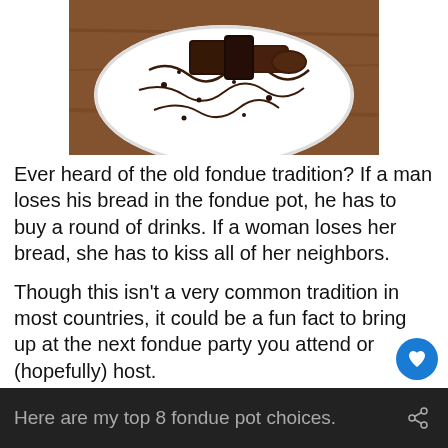[Figure (photo): A white plate with chocolate fondue drizzled on it and chocolate-covered items on top, on a wooden surface.]
Ever heard of the old fondue tradition? If a man loses his bread in the fondue pot, he has to buy a round of drinks. If a woman loses her bread, she has to kiss all of her neighbors.
Though this isn't a very common tradition in most countries, it could be a fun fact to bring up at the next fondue party you attend or (hopefully) host.
Here are my top 8 fondue pot choices.